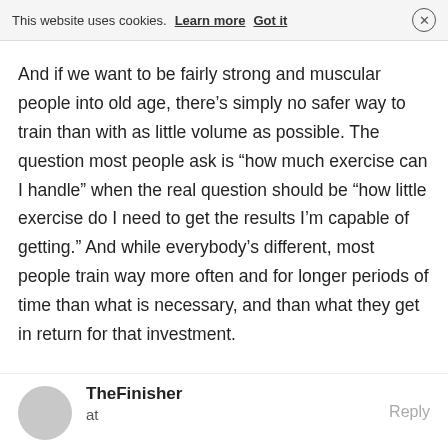This website uses cookies. Learn more Got it
And if we want to be fairly strong and muscular people into old age, there’s simply no safer way to train than with as little volume as possible. The question most people ask is “how much exercise can I handle” when the real question should be “how little exercise do I need to get the results I’m capable of getting.” And while everybody’s different, most people train way more often and for longer periods of time than what is necessary, and than what they get in return for that investment.
TheFinisher
at